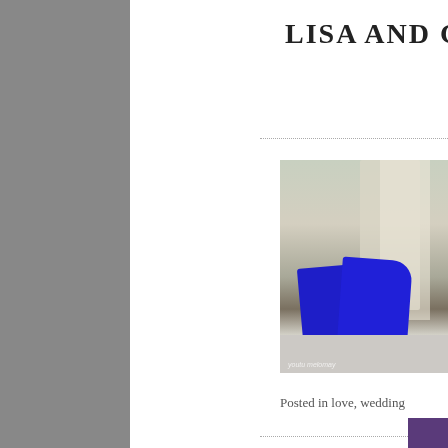LISA AND G
[Figure (photo): Blue suede platform high heel shoes placed on a patterned gray surface, with soft-focus curtains and room in the background. Photographer watermark visible at bottom left.]
Oh my goodness…. where do I begi… engagement shoot a month or so ago… things have a...
View full post »
Posted in love, wedding